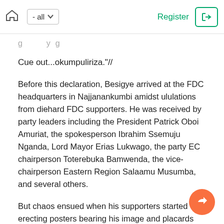Home | - all | Register | Login
g ... y g
Cue out...okumpuliriza."//
Before this declaration, Besigye arrived at the FDC headquarters in Najjanankumbi amidst ululations from diehard FDC supporters. He was received by party leaders including the President Patrick Oboi Amuriat, the spokesperson Ibrahim Ssemuju Nganda, Lord Mayor Erias Lukwago, the party EC chairperson Toterebuka Bamwenda, the vice-chairperson Eastern Region Salaamu Musumba, and several others.
But chaos ensued when his supporters started erecting posters bearing his image and placards demanding that he picks nomination forms and take part in the 2021 electio... However, Nganda asked his supporters to calm down a... he prepared to talk to them and the country at large.